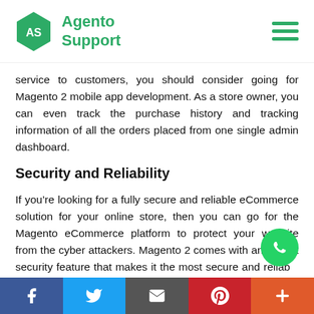Agento Support
service to customers, you should consider going for Magento 2 mobile app development. As a store owner, you can even track the purchase history and tracking information of all the orders placed from one single admin dashboard.
Security and Reliability
If you're looking for a fully secure and reliable eCommerce solution for your online store, then you can go for the Magento eCommerce platform to protect your website from the cyber attackers. Magento 2 comes with an in-built security feature that makes it the most secure and reliable platform.
Social share bar: Facebook, Twitter, Email, Pinterest, More